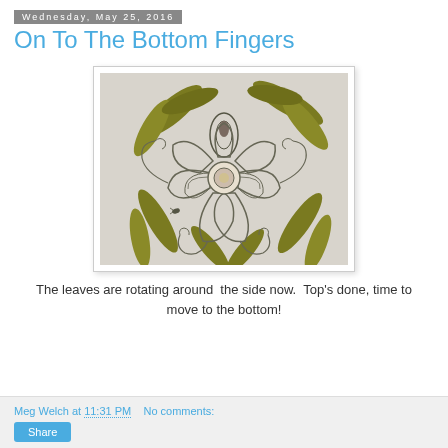Wednesday, May 25, 2016
On To The Bottom Fingers
[Figure (photo): A pencil and olive-green ink drawing of a flower with large petals, swirling tendrils, and pointed leaves arranged around the bloom, on white fabric or paper.]
The leaves are rotating around  the side now.  Top's done, time to move to the bottom!
Meg Welch at 11:31 PM   No comments: